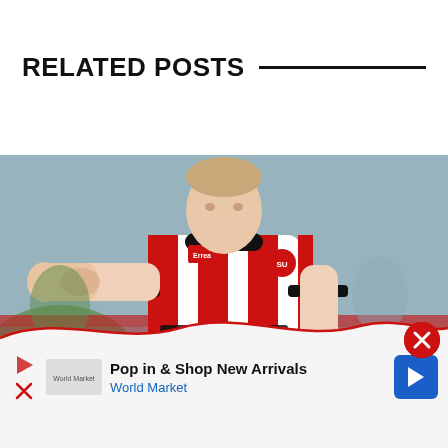RELATED POSTS
[Figure (photo): A football player wearing a red and white striped Sheffield United jersey with 'RANDOX HEALTH' sponsor, giving a thumbs up gesture on a football pitch with red stadium seats in the background.]
[Figure (infographic): Advertisement banner: 'Pop in & Shop New Arrivals - World Market' with play button icon, close X button, and navigation arrow icon. Red wave decoration above ad.]